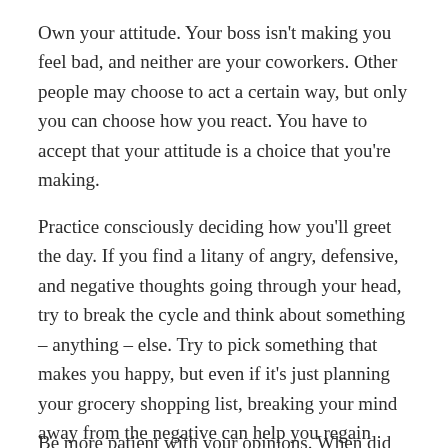Own your attitude. Your boss isn’t making you feel bad, and neither are your coworkers. Other people may choose to act a certain way, but only you can choose how you react. You have to accept that your attitude is a choice that you’re making.
Practice consciously deciding how you’ll greet the day. If you find a litany of angry, defensive, and negative thoughts going through your head, try to break the cycle and think about something – anything – else. Try to pick something that makes you happy, but even if it’s just planning your grocery shopping list, breaking your mind away from the negative can help you regain some perspective.
Be more patient with your opinions. When did you first...